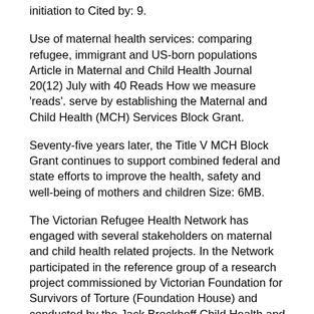initiation to Cited by: 9.
Use of maternal health services: comparing refugee, immigrant and US-born populations Article in Maternal and Child Health Journal 20(12) July with 40 Reads How we measure 'reads'. serve by establishing the Maternal and Child Health (MCH) Services Block Grant.
Seventy-five years later, the Title V MCH Block Grant continues to support combined federal and state efforts to improve the health, safety and well-being of mothers and children Size: 6MB.
The Victorian Refugee Health Network has engaged with several stakeholders on maternal and child health related projects. In the Network participated in the reference group of a research project commissioned by Victorian Foundation for Survivors of Torture (Foundation House) and conducted by the Jack Brockhoff Child Health and Wellbeing Program.
Oregon Maternal Data Center The OPC, Q Corp and other sponsors are implementing the Oregon Maternal Data Center (OMDC) to measure and